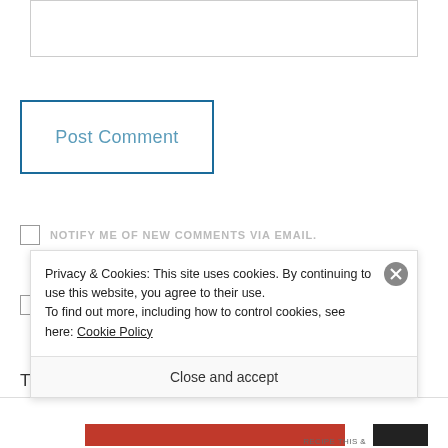[Figure (screenshot): Textarea input box (comment field, partially visible at top)]
Post Comment
NOTIFY ME OF NEW COMMENTS VIA EMAIL.
NOTIFY ME OF NEW POSTS VIA EMAIL.
This site uses Akismet to reduce spam. Learn
Privacy & Cookies: This site uses cookies. By continuing to use this website, you agree to their use.
To find out more, including how to control cookies, see here: Cookie Policy
Close and accept